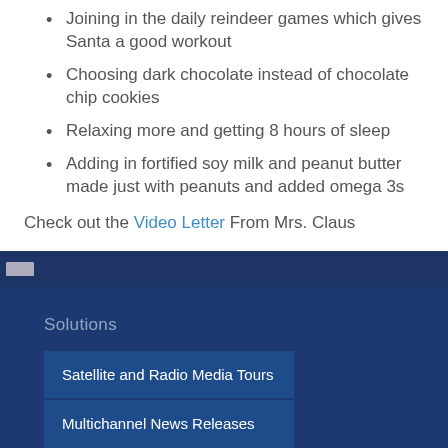Joining in the daily reindeer games which gives Santa a good workout
Choosing dark chocolate instead of chocolate chip cookies
Relaxing more and getting 8 hours of sleep
Adding in fortified soy milk and peanut butter made just with peanuts and added omega 3s
Check out the Video Letter From Mrs. Claus
Solutions
Satellite and Radio Media Tours
Multichannel News Releases